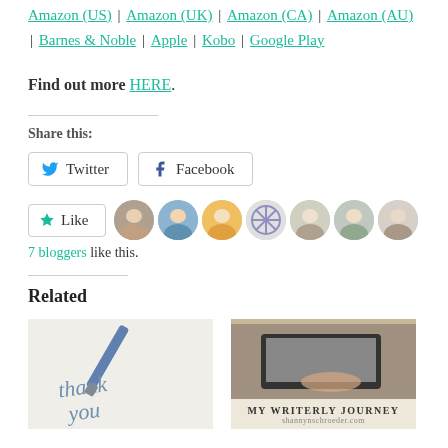Amazon (US) | Amazon (UK) | Amazon (CA) | Amazon (AU) | Barnes & Noble | Apple | Kobo | Google Play
Find out more HERE.
Share this:
Twitter  Facebook
Like  7 bloggers like this.
Related
[Figure (photo): Thank you written with pen on paper]
[Figure (photo): Person typing on laptop with text 'My Writerly Journey']